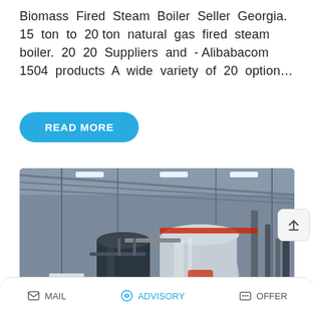Biomass Fired Steam Boiler Seller Georgia. 15 ton to 20 ton natural gas fired steam boiler. 20 20 Suppliers and - Alibabacom 1504 products A wide variety of 20 option…
READ MORE
[Figure (photo): Industrial boiler room interior showing large cylindrical steam boilers (dark blue/grey) mounted horizontally on supports, with extensive pipe systems, metal walkways, and a high corrugated metal roof. WhatsApp sticker overlay in bottom-left corner.]
MAIL   ADVISORY   OFFER